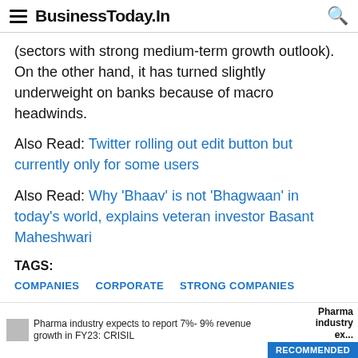BusinessToday.In
(sectors with strong medium-term growth outlook). On the other hand, it has turned slightly underweight on banks because of macro headwinds.
Also Read: Twitter rolling out edit button but currently only for some users
Also Read: Why 'Bhaav' is not 'Bhagwaan' in today's world, explains veteran investor Basant Maheshwari
TAGS:
COMPANIES
CORPORATE
STRONG COMPANIES
DALAL STREET
Pharma industry expects to report 7%- 9% revenue growth in FY23: CRISIL | Pharma industry ex... | RECOMMENDED